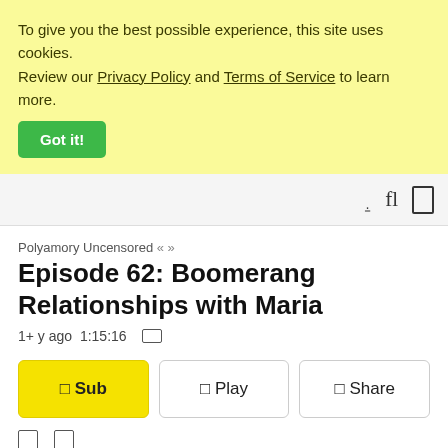To give you the best possible experience, this site uses cookies. Review our Privacy Policy and Terms of Service to learn more.
Got it!
navigation bar with search and menu icons
Polyamory Uncensored « »
Episode 62: Boomerang Relationships with Maria
1+ y ago 1:15:16
□ Sub  □ Play  □ Share
M4A • Episode home